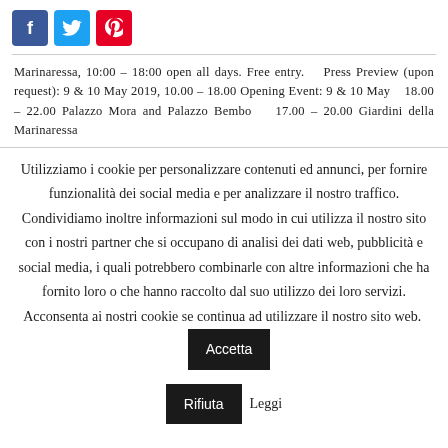[Figure (other): Social media share buttons: Facebook (blue), Twitter (light blue), Pinterest (red)]
Marinaressa, 10:00 – 18:00 open all days. Free entry.   Press Preview (upon request): 9 & 10 May 2019, 10.00 – 18.00 Opening Event: 9 & 10 May   18.00 – 22.00 Palazzo Mora and Palazzo Bembo   17.00 – 20.00 Giardini della Marinaressa
Utilizziamo i cookie per personalizzare contenuti ed annunci, per fornire funzionalità dei social media e per analizzare il nostro traffico. Condividiamo inoltre informazioni sul modo in cui utilizza il nostro sito con i nostri partner che si occupano di analisi dei dati web, pubblicità e social media, i quali potrebbero combinarle con altre informazioni che ha fornito loro o che hanno raccolto dal suo utilizzo dei loro servizi. Acconsenta ai nostri cookie se continua ad utilizzare il nostro sito web.
Accetta
Rifiuta
Leggi